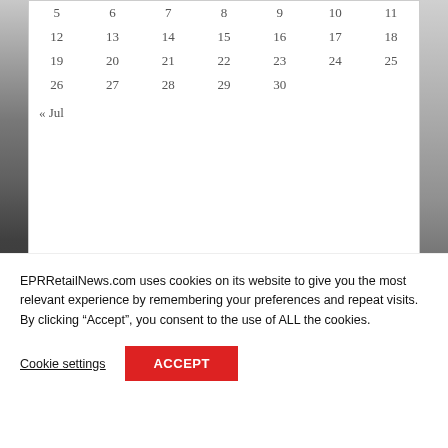| S | M | T | W | T | F | S |
| --- | --- | --- | --- | --- | --- | --- |
| 5 | 6 | 7 | 8 | 9 | 10 | 11 |
| 12 | 13 | 14 | 15 | 16 | 17 | 18 |
| 19 | 20 | 21 | 22 | 23 | 24 | 25 |
| 26 | 27 | 28 | 29 | 30 |  |  |
« Jul
ADS
[Figure (other): Blue rectangle advertisement placeholder]
EPRRetailNews.com uses cookies on its website to give you the most relevant experience by remembering your preferences and repeat visits. By clicking “Accept”, you consent to the use of ALL the cookies.
Cookie settings
ACCEPT